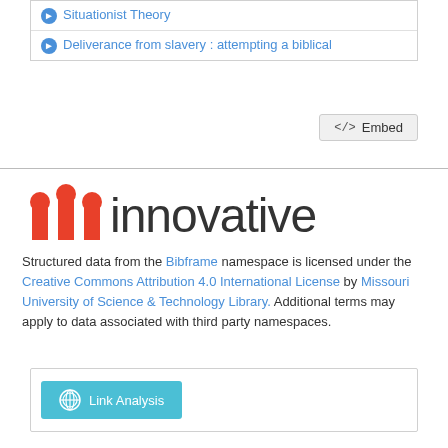Situationist Theory
Deliverance from slavery : attempting a biblical
</>  Embed
[Figure (logo): Innovative Interfaces logo: three red/orange pillar shapes followed by the word 'innovative' in dark gray sans-serif text]
Structured data from the Bibframe namespace is licensed under the Creative Commons Attribution 4.0 International License by Missouri University of Science & Technology Library. Additional terms may apply to data associated with third party namespaces.
Link Analysis